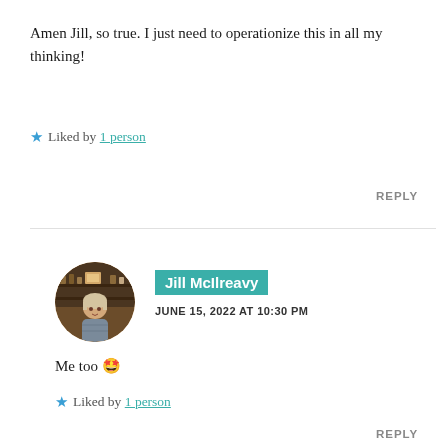Amen Jill, so true. I just need to operationize this in all my thinking!
★ Liked by 1 person
REPLY
[Figure (photo): Circular avatar photo of Jill McIlreavy, a woman with light hair, in a shop setting]
Jill McIlreavy
JUNE 15, 2022 AT 10:30 PM
Me too 🤩
★ Liked by 1 person
REPLY